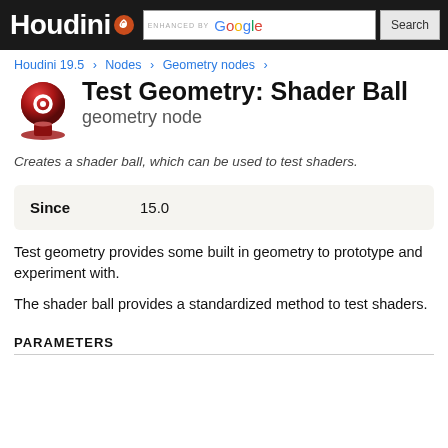Houdini — ENHANCED BY Google Search
Houdini 19.5 > Nodes > Geometry nodes >
Test Geometry: Shader Ball
geometry node
Creates a shader ball, which can be used to test shaders.
| Since |  |
| --- | --- |
| Since | 15.0 |
Test geometry provides some built in geometry to prototype and experiment with.
The shader ball provides a standardized method to test shaders.
PARAMETERS